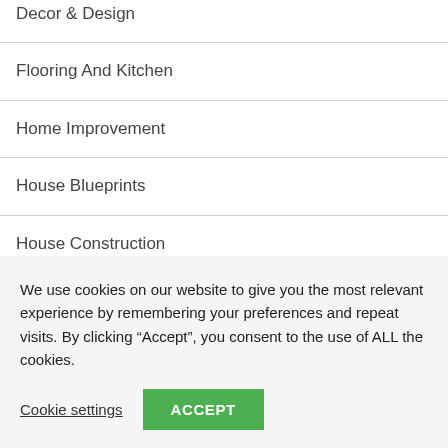Decor & Design
Flooring And Kitchen
Home Improvement
House Blueprints
House Construction
Landscaping & Gardening
We use cookies on our website to give you the most relevant experience by remembering your preferences and repeat visits. By clicking “Accept”, you consent to the use of ALL the cookies.
Cookie settings  ACCEPT